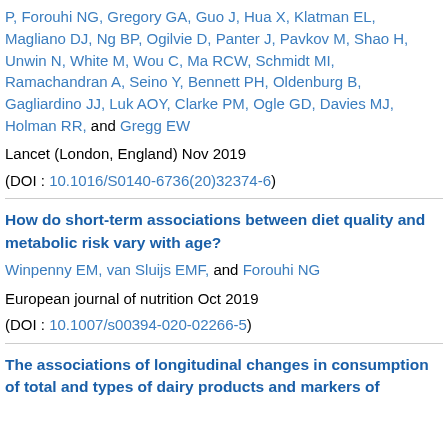P, Forouhi NG, Gregory GA, Guo J, Hua X, Klatman EL, Magliano DJ, Ng BP, Ogilvie D, Panter J, Pavkov M, Shao H, Unwin N, White M, Wou C, Ma RCW, Schmidt MI, Ramachandran A, Seino Y, Bennett PH, Oldenburg B, Gagliardino JJ, Luk AOY, Clarke PM, Ogle GD, Davies MJ, Holman RR, and Gregg EW
Lancet (London, England) Nov 2019
(DOI : 10.1016/S0140-6736(20)32374-6)
How do short-term associations between diet quality and metabolic risk vary with age?
Winpenny EM, van Sluijs EMF, and Forouhi NG
European journal of nutrition Oct 2019
(DOI : 10.1007/s00394-020-02266-5)
The associations of longitudinal changes in consumption of total and types of dairy products and markers of